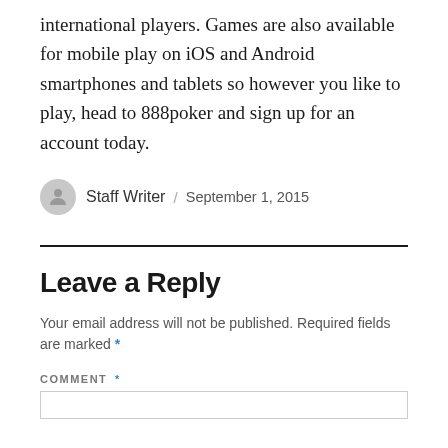international players. Games are also available for mobile play on iOS and Android smartphones and tablets so however you like to play, head to 888poker and sign up for an account today.
Staff Writer / September 1, 2015
Leave a Reply
Your email address will not be published. Required fields are marked *
COMMENT *